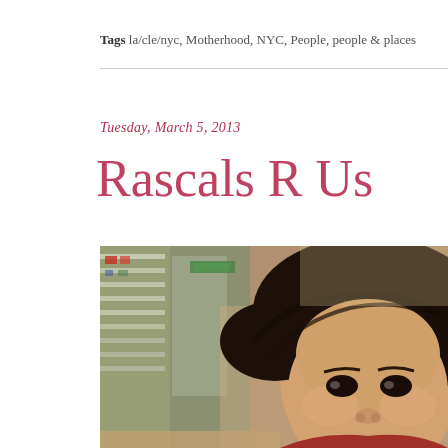Tags la/cle/nyc, Motherhood, NYC, People, people & places
Tuesday, March 5, 2013
Rascals R Us
[Figure (photo): Close-up photograph of a young child with dark bowl-cut hair and dark eyes, looking directly at the camera with a serious expression. Background shows a blurred indoor setting that appears to be a store or restaurant with shelves and reflections visible. The image has a warm, slightly vintage tone.]